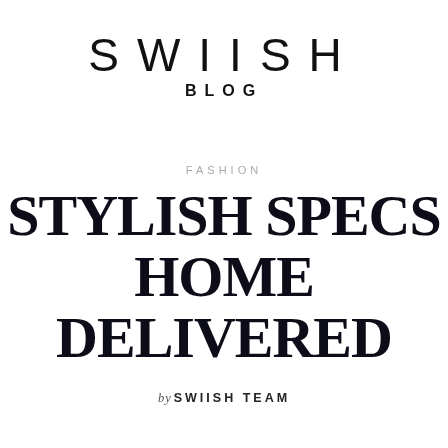SWIISH BLOG
FASHION
STYLISH SPECS HOME DELIVERED
by SWIISH TEAM